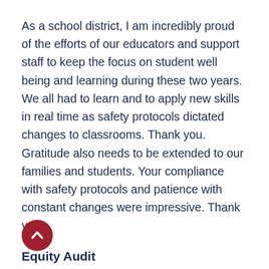As a school district, I am incredibly proud of the efforts of our educators and support staff to keep the focus on student well being and learning during these two years. We all had to learn and to apply new skills in real time as safety protocols dictated changes to classrooms. Thank you. Gratitude also needs to be extended to our families and students. Your compliance with safety protocols and patience with constant changes were impressive. Thank you.
Equity Audit
We are about to start the visitation part of the Equity Audit process across the district. Please know that the commitment to an Equity Audit began three years ago as a part of our District Improvement Plan and was included in my professional practice